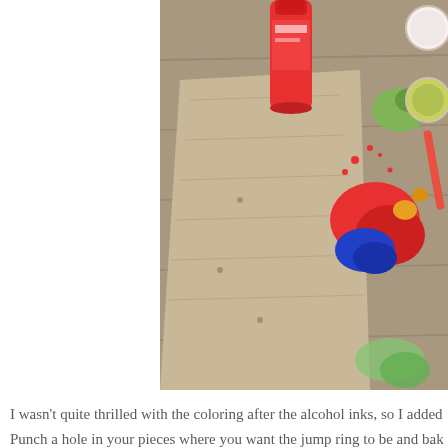[Figure (photo): Overhead photo of painting supplies including a red paint bottle/tube and a palette/cardboard with colorful paint splatters in red, blue, green, and yellow on a wooden surface.]
I wasn't quite thrilled with the coloring after the alcohol inks, so I added
Punch a hole in your pieces where you want the jump ring to be and bak
[Figure (photo): Close-up photo of a person's ear and neck area showing skin texture and hair, with a small white/light-colored earring or jewelry piece visible at the ear.]